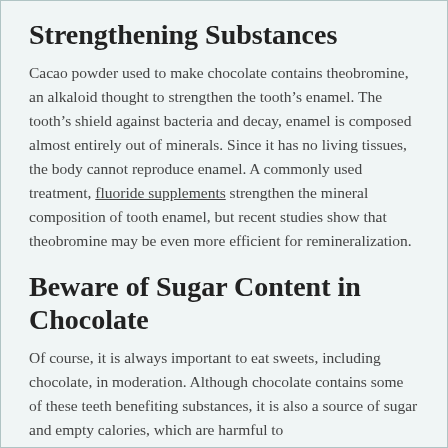Strengthening Substances
Cacao powder used to make chocolate contains theobromine, an alkaloid thought to strengthen the tooth’s enamel. The tooth’s shield against bacteria and decay, enamel is composed almost entirely out of minerals. Since it has no living tissues, the body cannot reproduce enamel. A commonly used treatment, fluoride supplements strengthen the mineral composition of tooth enamel, but recent studies show that theobromine may be even more efficient for remineralization.
Beware of Sugar Content in Chocolate
Of course, it is always important to eat sweets, including chocolate, in moderation. Although chocolate contains some of these teeth benefiting substances, it is also a source of sugar and empty calories, which are harmful to